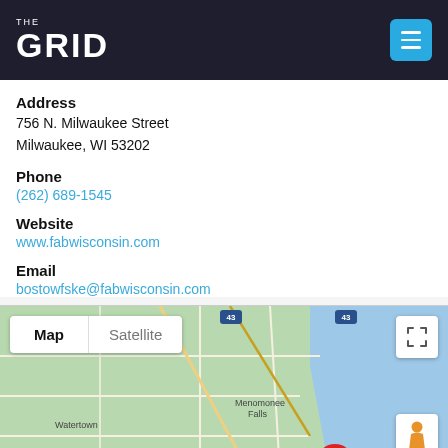THE GRID
Address
756 N. Milwaukee Street
Milwaukee, WI 53202
Phone
(262) 689-1545
Website
www.fabwisconsin.com
Email
bostowfske@fabwisconsin.com
[Figure (map): Google Maps showing Milwaukee, WI area with Map/Satellite toggle tabs, a fullscreen button, and a person/street-view button. Map shows Lake Michigan (blue) to the east and surrounding cities including Watertown, Oconomowoc, Menomonee Falls, Beaver Dam with road networks and a red pin marker near Milwaukee.]